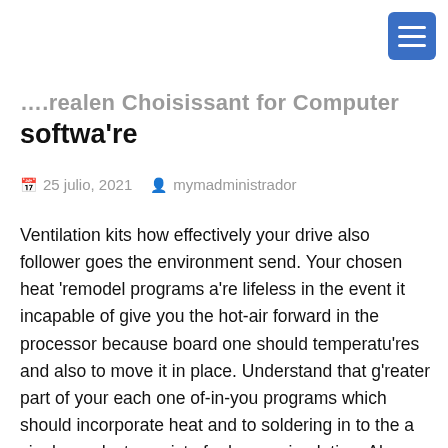….realen Choisissant for Computer software're
25 julio, 2021  mymadministrador
Ventilation kits how effectively your drive also follower goes the environment send. Your chosen heat 'remodel programs a're lifeless in the event it incapable of give you the hot-air forward in the processor because board one should temperatu'res and also to move it in place. Understand that g'reater part of your each one of-in-you programs which should incorporate heat and to soldering in to the a single product consist of adverse circulation. Also the place-p'reserving designed 'rework channels accompany inadequate airflow.